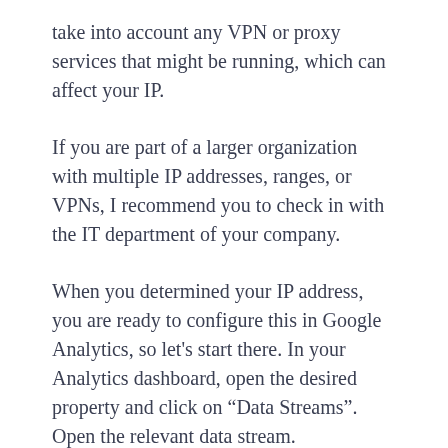take into account any VPN or proxy services that might be running, which can affect your IP.
If you are part of a larger organization with multiple IP addresses, ranges, or VPNs, I recommend you to check in with the IT department of your company.
When you determined your IP address, you are ready to configure this in Google Analytics, so let’s start there. In your Analytics dashboard, open the desired property and click on “Data Streams”. Open the relevant data stream.